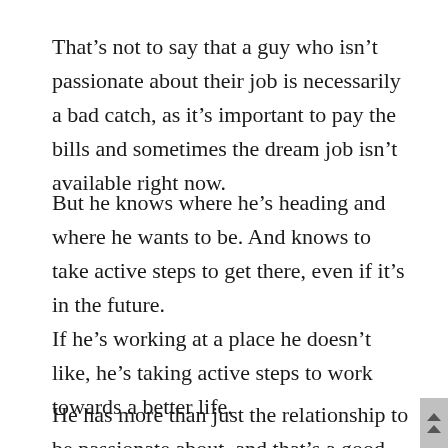That's not to say that a guy who isn't passionate about their job is necessarily a bad catch, as it's important to pay the bills and sometimes the dream job isn't available right now.
But he knows where he's heading and where he wants to be. And knows to take active steps to get there, even if it's in the future.
If he's working at a place he doesn't like, he's taking active steps to work towards a better life.
He has more than just the relationship to be passionate about, and that's a good thing.